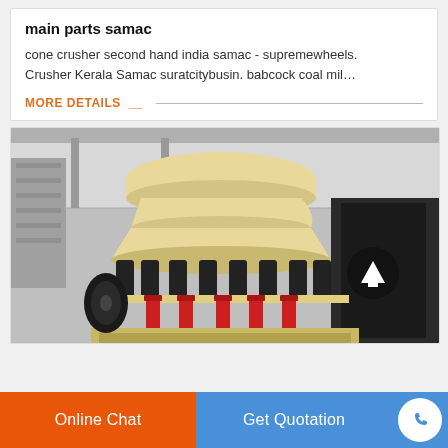main parts samac
cone crusher second hand india samac - supremewheels. Crusher Kerala Samac suratcitybusin. babcock coal mil…
MORE DETAILS
[Figure (photo): Industrial cone crusher machine in a factory setting, showing the yellow/cream-colored cone crusher with black springs, red hydraulic cylinders, and black machinery in background. An arrow-up button is overlaid on the lower right of the image.]
Online Chat
Get Quotation